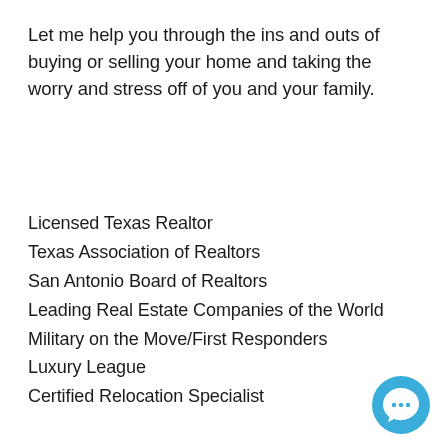Let me help you through the ins and outs of buying or selling your home and taking the worry and stress off of you and your family.
Licensed Texas Realtor
Texas Association of Realtors
San Antonio Board of Realtors
Leading Real Estate Companies of the World
Military on the Move/First Responders
Luxury League
Certified Relocation Specialist
[Figure (logo): Blue circular chat/speech bubble icon in the bottom-right corner]